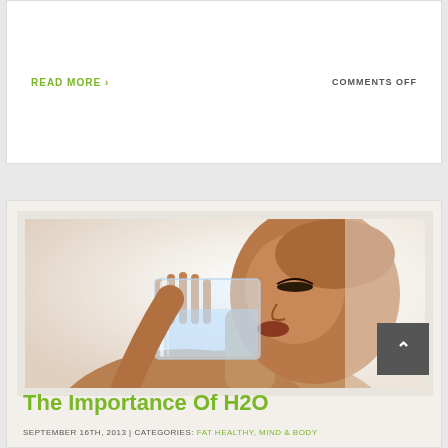READ MORE >
COMMENTS OFF
[Figure (photo): Woman drinking a glass of water, side profile close-up, holding a clear glass to her lips]
The Importance Of H2O
SEPTEMBER 16TH, 2013 | CATEGORIES: FAT HEALTHY, MIND & BODY